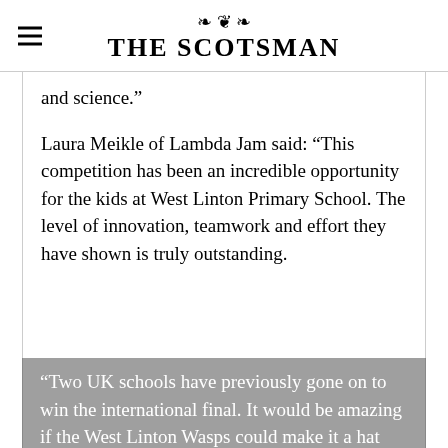THE SCOTSMAN
and science.”
Laura Meikle of Lambda Jam said: “This competition has been an incredible opportunity for the kids at West Linton Primary School. The level of innovation, teamwork and effort they have shown is truly outstanding.
“Two UK schools have previously gone on to win the international final. It would be amazing if the West Linton Wasps could make it a hat trick for schools in the UK and a first